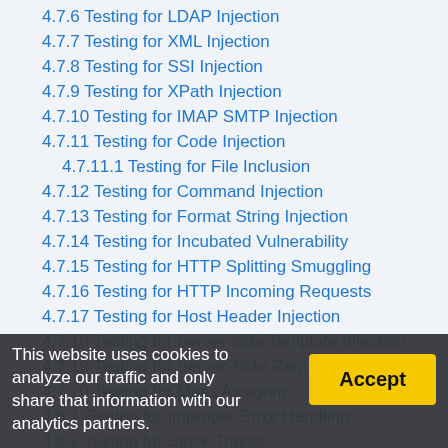4.7.6 Testing for LDAP Injection
4.7.7 Testing for XML Injection
4.7.8 Testing for SSI Injection
4.7.9 Testing for XPath Injection
4.7.10 Testing for IMAP SMTP Injection
4.7.11 Testing for Code Injection
4.7.11.1 Testing for File Inclusion
4.7.12 Testing for Command Injection
4.7.13 Testing for Format String Injection
4.7.14 Testing for Incubated Vulnerability
4.7.15 Testing for HTTP Splitting Smuggling
4.7.16 Testing for HTTP Incoming Requests
4.7.17 Testing for Host Header Injection
4.7.18 Testing for Server-side Template Injection
4.7.19 Testing for Server-Side Request Forgery
4.7.20 Testing for Mass Assignment
4.8.1 Testing for Improper Error Handling
4.8.2 Testing for Stack Traces
This website uses cookies to analyze our traffic and only share that information with our analytics partners.